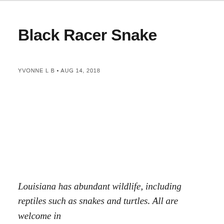Black Racer Snake
YVONNE L B • AUG 14, 2018
Louisiana has abundant wildlife, including reptiles such as snakes and turtles. All are welcome in